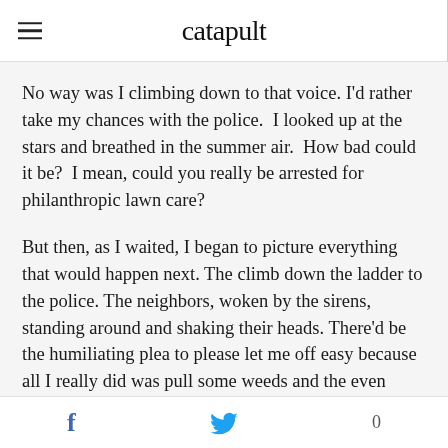catapult
No way was I climbing down to that voice. I'd rather take my chances with the police.  I looked up at the stars and breathed in the summer air.  How bad could it be?  I mean, could you really be arrested for philanthropic lawn care?
But then, as I waited, I began to picture everything that would happen next. The climb down the ladder to the police. The neighbors, woken by the sirens, standing around and shaking their heads. There'd be the humiliating plea to please let me off easy because all I really did was pull some weeds and the even more humiliating call to Sam, who would be oh-so-
f  [twitter bird]  0